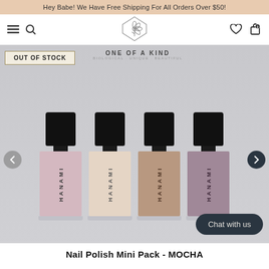Hey Babe! We Have Free Shipping For All Orders Over $50!
[Figure (screenshot): E-commerce website navigation bar with hamburger menu, search icon, flower brand logo (ONE OF A KIND), wishlist and cart icons]
[Figure (photo): Product photo of four HANAMI nail polish bottles in shades of pink, nude, mocha brown, and dusty mauve on a light grey background. An 'OUT OF STOCK' badge is visible on the top left. A 'ONE OF A KIND' brand logo is at the top center. Navigation arrows are on left and right sides. A dark 'Chat with us' button is at the bottom right.]
Nail Polish Mini Pack - MOCHA